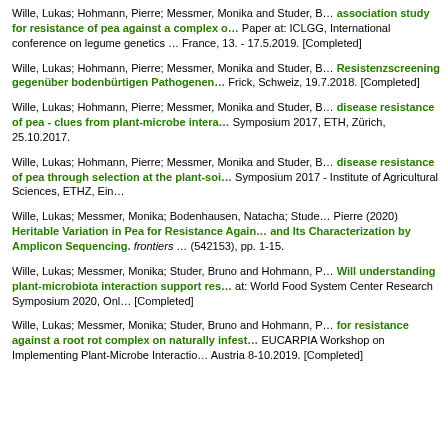Wille, Lukas; Hohmann, Pierre; Messmer, Monika and Studer, B… association study for resistance of pea against a complex o… Paper at: ICLGG, International conference on legume genetics … France, 13. - 17.5.2019. [Completed]
Wille, Lukas; Hohmann, Pierre; Messmer, Monika and Studer, B… Resistenzscreening gegenüber bodenbürtigen Pathogenen… Frick, Schweiz, 19.7.2018. [Completed]
Wille, Lukas; Hohmann, Pierre; Messmer, Monika and Studer, B… disease resistance of pea - clues from plant-microbe intera… Symposium 2017, ETH, Zürich, 25.10.2017.
Wille, Lukas; Hohmann, Pierre; Messmer, Monika and Studer, B… disease resistance of pea through selection at the plant-soi… Symposium 2017 - Institute of Agricultural Sciences, ETHZ, Ein…
Wille, Lukas; Messmer, Monika; Bodenhausen, Natacha; Stude… Pierre (2020) Heritable Variation in Pea for Resistance Again… and Its Characterization by Amplicon Sequencing. frontiers … (542153), pp. 1-15.
Wille, Lukas; Messmer, Monika; Studer, Bruno and Hohmann, P… Will understanding plant-microbiota interaction support res… at: World Food System Center Research Symposium 2020, Onl… [Completed]
Wille, Lukas; Messmer, Monika; Studer, Bruno and Hohmann, P… for resistance against a root rot complex on naturally infest… EUCARPIA Workshop on Implementing Plant-Microbe Interactio… Austria 8-10.2019. [Completed]